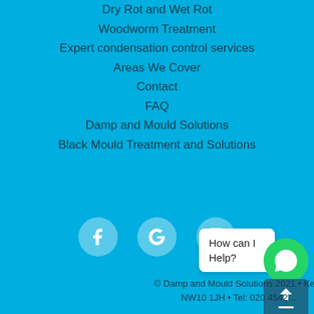Dry Rot and Wet Rot
Woodworm Treatment
Expert condensation control services
Areas We Cover
Contact
FAQ
Damp and Mould Solutions
Black Mould Treatment and Solutions
[Figure (illustration): Three social media icon circles: Facebook (f), Google (G), Instagram (camera icon), on cyan background]
[Figure (screenshot): WhatsApp chat widget with 'How can I Help?' bubble, green WhatsApp button, and teal scroll-to-top button]
© Damp and Mould Solutions 2021 • Ke... NW10 1JH • Tel: 020 4542...